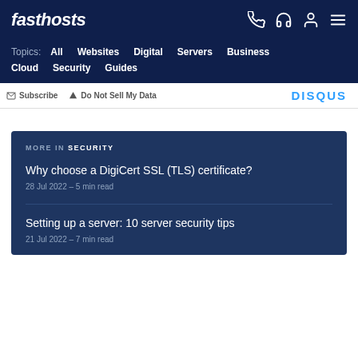fasthosts
Topics: All Websites Digital Servers Business Cloud Security Guides
Subscribe  Do Not Sell My Data  DISQUS
MORE IN SECURITY
Why choose a DigiCert SSL (TLS) certificate?
28 Jul 2022 – 5 min read
Setting up a server: 10 server security tips
21 Jul 2022 – 7 min read